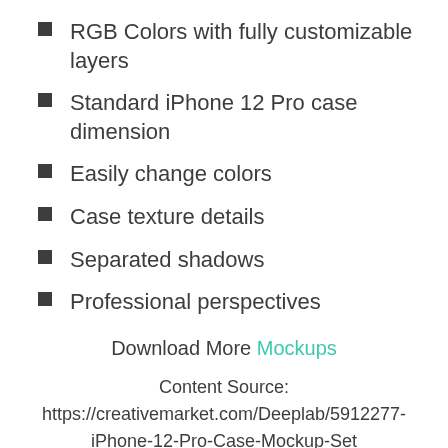RGB Colors with fully customizable layers
Standard iPhone 12 Pro case dimension
Easily change colors
Case texture details
Separated shadows
Professional perspectives
Download More Mockups
Content Source:
https://creativemarket.com/Deeplab/5912277-iPhone-12-Pro-Case-Mockup-Set